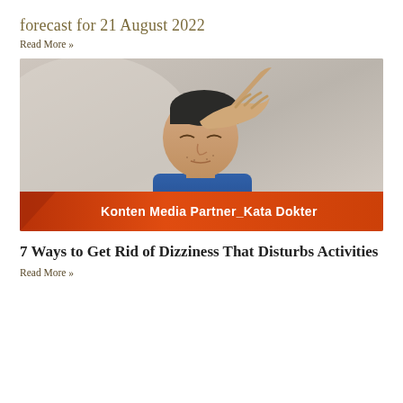forecast for 21 August 2022
Read More »
[Figure (photo): Man with hand on forehead appearing dizzy, wearing dark beanie, with orange banner overlay reading 'Konten Media Partner_Kata Dokter']
7 Ways to Get Rid of Dizziness That Disturbs Activities
Read More »